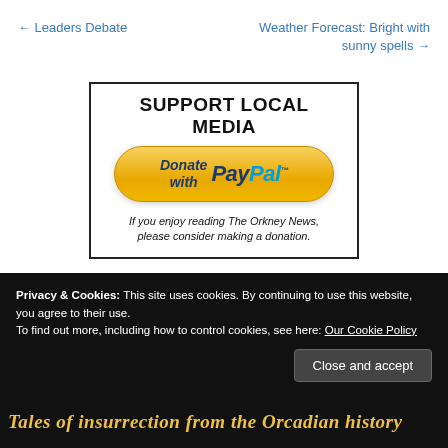← Leaders Debate
Weather Forecast: Bright with sunny spells →
[Figure (other): Support Local Media PayPal donation banner with PayPal button and text: If you enjoy reading The Orkney News, please consider making a donation.]
Privacy & Cookies: This site uses cookies. By continuing to use this website, you agree to their use. To find out more, including how to control cookies, see here: Our Cookie Policy
Close and accept
Tales of insurrection from the Orcadian history